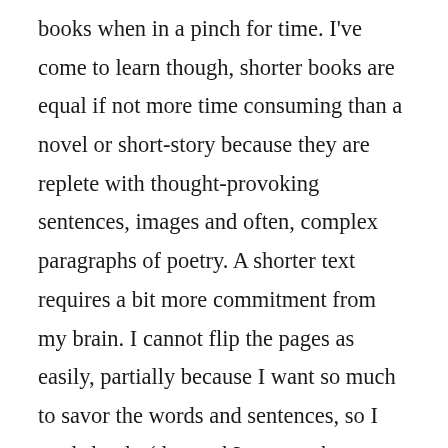books when in a pinch for time. I've come to learn though, shorter books are equal if not more time consuming than a novel or short-story because they are replete with thought-provoking sentences, images and often, complex paragraphs of poetry. A shorter text requires a bit more commitment from my brain. I cannot flip the pages as easily, partially because I want so much to savor the words and sentences, so I read slowly (that and I seem to have horrible reading comprehension or ADHD) and thus, a fifty page book takes me almost as long as if it were two hundred and fifty. When does all this occur? On train rides,